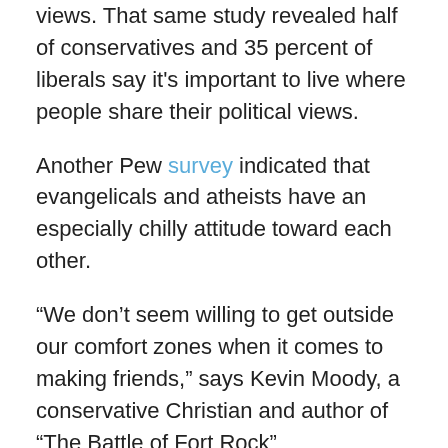views. That same study revealed half of conservatives and 35 percent of liberals say it's important to live where people share their political views.
Another Pew survey indicated that evangelicals and atheists have an especially chilly attitude toward each other.
“We don’t seem willing to get outside our comfort zones when it comes to making friends,” says Kevin Moody, a conservative Christian and author of “The Battle of Fort Rock” (http://www.amazon.com/The-Battle-Fort-Rock-State/dp/1482039362), a novel that explores that theme using a real-life controversy that happened during the 20th anniversary of the Kent State shootings.
“That unwillingness to listen to opposing ideas can cause us to carry around pre-conceived notions about each other. We might find that we have more in common than we realize if…